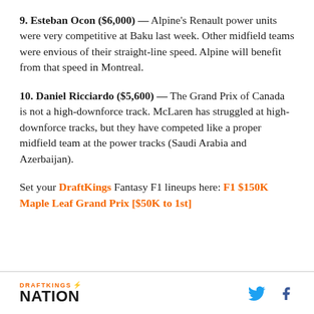9. Esteban Ocon ($6,000) — Alpine's Renault power units were very competitive at Baku last week. Other midfield teams were envious of their straight-line speed. Alpine will benefit from that speed in Montreal.
10. Daniel Ricciardo ($5,600) — The Grand Prix of Canada is not a high-downforce track. McLaren has struggled at high-downforce tracks, but they have competed like a proper midfield team at the power tracks (Saudi Arabia and Azerbaijan).
Set your DraftKings Fantasy F1 lineups here: F1 $150K Maple Leaf Grand Prix [$50K to 1st]
DRAFTKINGS NATION